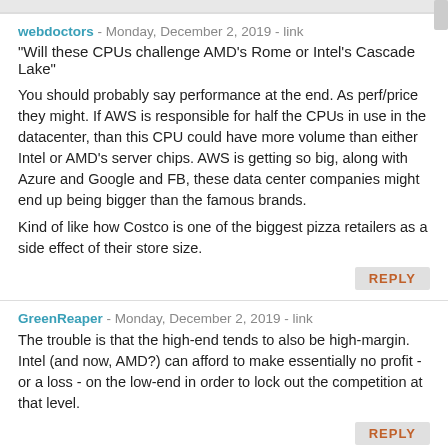webdoctors - Monday, December 2, 2019 - link
"Will these CPUs challenge AMD's Rome or Intel's Cascade Lake"
You should probably say performance at the end. As perf/price they might. If AWS is responsible for half the CPUs in use in the datacenter, than this CPU could have more volume than either Intel or AMD's server chips. AWS is getting so big, along with Azure and Google and FB, these data center companies might end up being bigger than the famous brands.
Kind of like how Costco is one of the biggest pizza retailers as a side effect of their store size.
REPLY
GreenReaper - Monday, December 2, 2019 - link
The trouble is that the high-end tends to also be high-margin. Intel (and now, AMD?) can afford to make essentially no profit - or a loss - on the low-end in order to lock out the competition at that level.
REPLY
Death666Angel - Monday, December 2, 2019 - link
There is such a thing as predatory pricing.